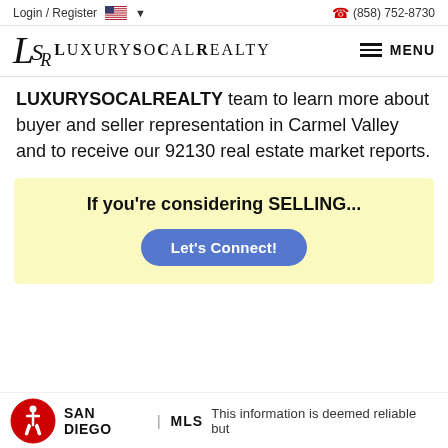Login / Register  (858) 752-8730
[Figure (logo): LuxurySoCalRealty logo with LSR monogram and stylized text]
LUXURYSOCALREALTY team to learn more about buyer and seller representation in Carmel Valley and to receive our 92130 real estate market reports.
If you're considering SELLING... Let's Connect!
SAN DIEGO | MLS This information is deemed reliable but